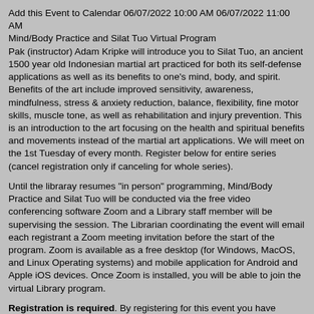Add this Event to Calendar 06/07/2022 10:00 AM 06/07/2022 11:00 AM Mind/Body Practice and Silat Tuo Virtual Program
Pak (instructor) Adam Kripke will introduce you to Silat Tuo, an ancient 1500 year old Indonesian martial art practiced for both its self-defense applications as well as its benefits to one's mind, body, and spirit. Benefits of the art include improved sensitivity, awareness, mindfulness, stress & anxiety reduction, balance, flexibility, fine motor skills, muscle tone, as well as rehabilitation and injury prevention. This is an introduction to the art focusing on the health and spiritual benefits and movements instead of the martial art applications. We will meet on the 1st Tuesday of every month. Register below for entire series (cancel registration only if canceling for whole series).
Until the libraray resumes "in person" programming, Mind/Body Practice and Silat Tuo will be conducted via the free video conferencing software Zoom and a Library staff member will be supervising the session. The Librarian coordinating the event will email each registrant a Zoom meeting invitation before the start of the program. Zoom is available as a free desktop (for Windows, MacOS, and Linux Operating systems) and mobile application for Android and Apple iOS devices. Once Zoom is installed, you will be able to join the virtual Library program.
Registration is required. By registering for this event you have agreed to comply with the library's patron behavior policy. All non-compliant participants will be immediately and permanently blocked from further participation. Because the Librarian facilitating the event will not be able to provide live technical support during the virtual program, it is strongly encouraged you familiarize yourself with Zoom in advance of the program. You can also contact the Library's Virtual Reference Service for assistance learning Zoom. You can also join a test meeting to familiarize yourself with Zoom. For more in-depth instructions please visit the Zoom support page on joining a meeting.
Shine@MLPL